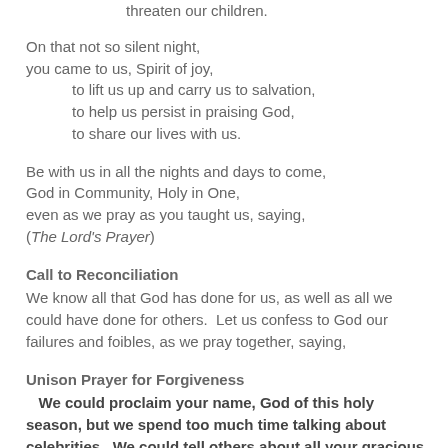threaten our children.
On that not so silent night,
you came to us, Spirit of joy,
    to lift us up and carry us to salvation,
    to help us persist in praising God,
    to share our lives with us.
Be with us in all the nights and days to come,
God in Community, Holy in One,
even as we pray as you taught us, saying,
(The Lord's Prayer)
Call to Reconciliation
We know all that God has done for us, as well as all we could have done for others.  Let us confess to God our failures and foibles, as we pray together, saying,
Unison Prayer for Forgiveness
We could proclaim your name, God of this holy season, but we spend too much time talking about celebrities.  We could tell others about all your gracious